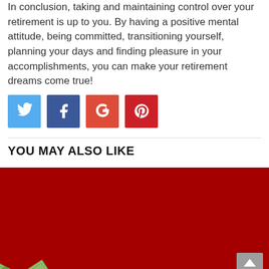In conclusion, taking and maintaining control over your retirement is up to you. By having a positive mental attitude, being committed, transitioning yourself, planning your days and finding pleasure in your accomplishments, you can make your retirement dreams come true!
[Figure (other): Social sharing buttons: Twitter (blue), Facebook (dark blue), Google+ (red-orange), Pinterest (red)]
YOU MAY ALSO LIKE
[Figure (photo): Photo of US dollar bills arranged in a staircase pattern on a red background, illustrating growing money or savings steps]